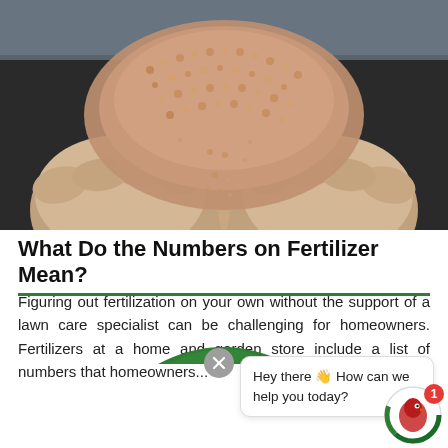[Figure (photo): Hands cupped together holding pink/salmon colored fertilizer granules, with granules spilling down. Person wearing a light blue plaid shirt and white gloves.]
What Do the Numbers on Fertilizer Mean?
Figuring out fertilization on your own without the support of a lawn care specialist can be challenging for homeowners. Fertilizers at a home and garden store include a list of numbers that homeowners...
[Figure (screenshot): Chat widget popup showing a close button (X), a green arc/header, a speech bubble saying 'Hey there 👋 How can we help you today?', and a circular bot avatar with a red badge showing '1'.]